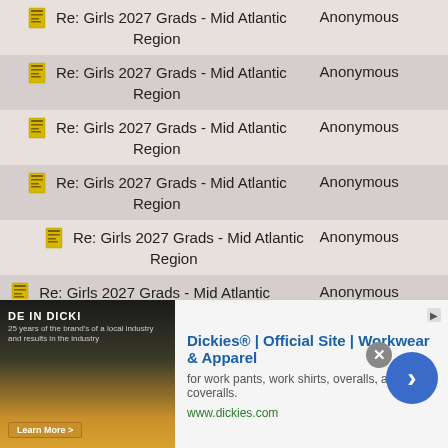| Title | Author |
| --- | --- |
| Re: Girls 2027 Grads - Mid Atlantic Region | Anonymous |
| Re: Girls 2027 Grads - Mid Atlantic Region | Anonymous |
| Re: Girls 2027 Grads - Mid Atlantic Region | Anonymous |
| Re: Girls 2027 Grads - Mid Atlantic Region | Anonymous |
| Re: Girls 2027 Grads - Mid Atlantic Region | Anonymous |
| Re: Girls 2027 Grads - Mid Atlantic Region | Anonymous |
| Re: Girls 2027 Grads - Mid Atlantic Region | Anonymous |
| Re: Girls 2027 Grads - Mid Atlantic Region | Anonymous |
[Figure (screenshot): Advertisement banner for Dickies - Official Site, Workwear & Apparel. Shows Dickies branding image on left, ad text 'Dickies® | Official Site | Workwear & Apparel', subtext 'for work pants, work shirts, overalls, and coveralls.', URL 'www.dickies.com', close button (X), and navigation arrow button.]